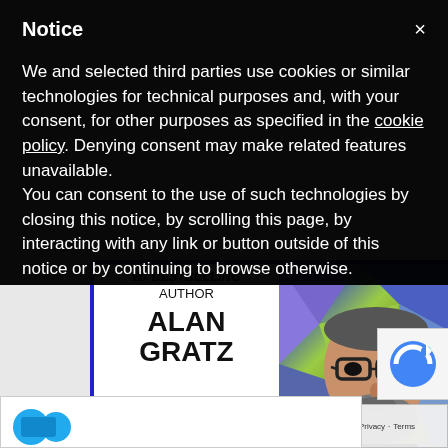Notice
We and selected third parties use cookies or similar technologies for technical purposes and, with your consent, for other purposes as specified in the cookie policy. Denying consent may make related features unavailable.
You can consent to the use of such technologies by closing this notice, by scrolling this page, by interacting with any link or button outside of this notice or by continuing to browse otherwise.
[Figure (photo): Advertisement featuring bestselling author Alan Gratz with a photo of a bearded man wearing glasses against a colorful geometric background. Text reads: W/ BESTSELLING AUTHOR ALAN GRATZ. Caption: Meet him with your school, school district, or writer's group! Proceeds benefit TABC Book Drop (Writer's Cubed, a 501c3).]